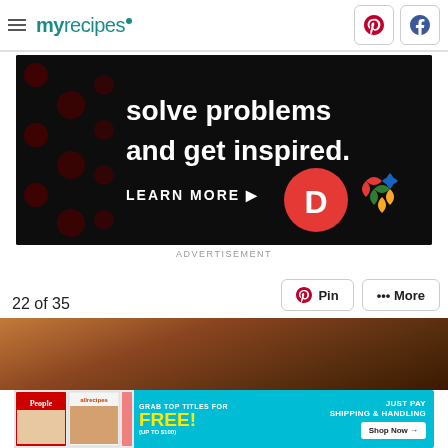myrecipes — Pinterest and Facebook social buttons
[Figure (photo): Dark advertisement banner reading 'solve problems and get inspired. LEARN MORE' with circular dot pattern background and company logos (D and colorful knot logo)]
ADVERTISEMENT
22 of 35
[Figure (other): Pin and More navigation buttons]
[Figure (photo): Close-up food photo showing chocolate or meat in warm brown tones]
[Figure (photo): Bottom advertisement: People and Allrecipes magazines - GRAB TOP TITLES FOR FREE! (UP TO $100) JUST PAY SHIPPING & HANDLING Shop Now]